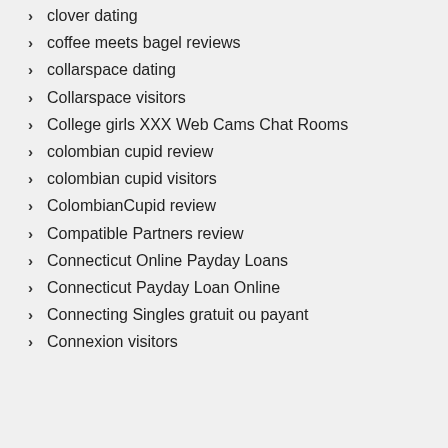clover dating
coffee meets bagel reviews
collarspace dating
Collarspace visitors
College girls XXX Web Cams Chat Rooms
colombian cupid review
colombian cupid visitors
ColombianCupid review
Compatible Partners review
Connecticut Online Payday Loans
Connecticut Payday Loan Online
Connecting Singles gratuit ou payant
Connexion visitors